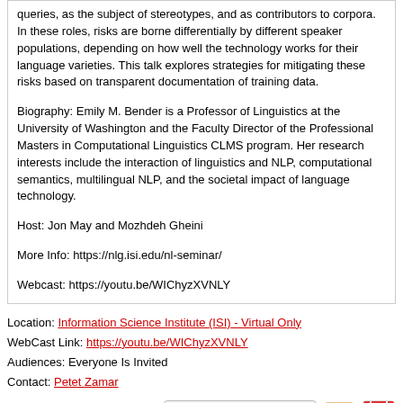queries, as the subject of stereotypes, and as contributors to corpora. In these roles, risks are borne differentially by different speaker populations, depending on how well the technology works for their language varieties. This talk explores strategies for mitigating these risks based on transparent documentation of training data.
Biography: Emily M. Bender is a Professor of Linguistics at the University of Washington and the Faculty Director of the Professional Masters in Computational Linguistics CLMS program. Her research interests include the interaction of linguistics and NLP, computational semantics, multilingual NLP, and the societal impact of language technology.
Host: Jon May and Mozhdeh Gheini
More Info: https://nlg.isi.edu/nl-seminar/
Webcast: https://youtu.be/WIChyzXVNLY
Location: Information Science Institute (ISI) - Virtual Only
WebCast Link: https://youtu.be/WIChyzXVNLY
Audiences: Everyone Is Invited
Contact: Petet Zamar
[Figure (other): Add to Google Calendar button, envelope icon, and iCal icon]